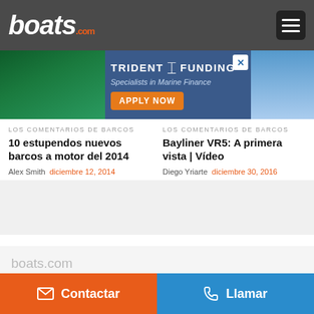boats.com
[Figure (screenshot): Trident Funding advertisement banner — Specialists in Marine Finance, APPLY NOW button, with sailboat and motorboat images]
LOS COMENTARIOS DE BARCOS
10 estupendos nuevos barcos a motor del 2014
Alex Smith  diciembre 12, 2014
LOS COMENTARIOS DE BARCOS
Bayliner VR5: A primera vista | Vídeo
Diego Yriarte  diciembre 30, 2016
boats.com
Contactar
Llamar